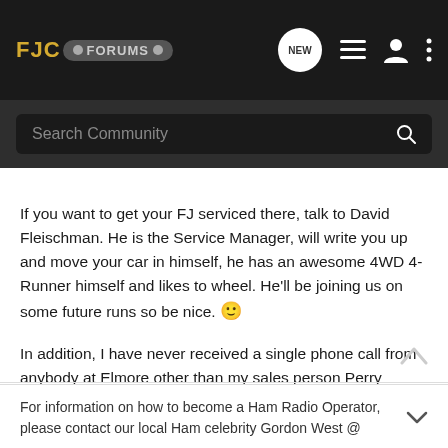FJC FORUMS
Search Community
If you want to get your FJ serviced there, talk to David Fleischman. He is the Service Manager, will write you up and move your car in himself, he has an awesome 4WD 4-Runner himself and likes to wheel. He'll be joining us on some future runs so be nice. 🙂
In addition, I have never received a single phone call from anybody at Elmore other than my sales person Perry Vinyard after the sale. I do receive a monthly coupon in the mail re service specials. Uh, I'm a customer, what's wrong with that?
For information on how to become a Ham Radio Operator, please contact our local Ham celebrity Gordon West @